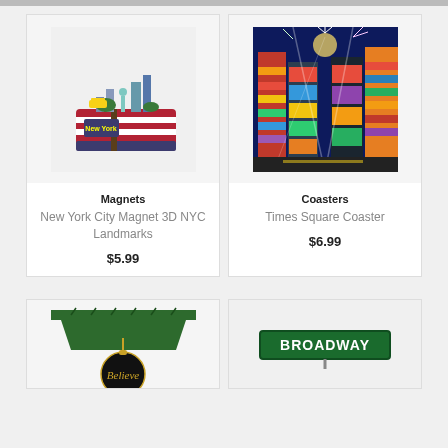[Figure (photo): New York City 3D magnet product image showing NYC landmarks including Statue of Liberty on a suitcase with American flag and New York text]
Magnets
New York City Magnet 3D NYC Landmarks
$5.99
[Figure (photo): Times Square coaster product image showing colorful illustration of Times Square at night with fireworks and bright signs]
Coasters
Times Square Coaster
$6.99
[Figure (photo): Christmas ornament hanging from pine tree branch with Believe text in gold on black circle]
[Figure (photo): Broadway street sign product image with green sign]